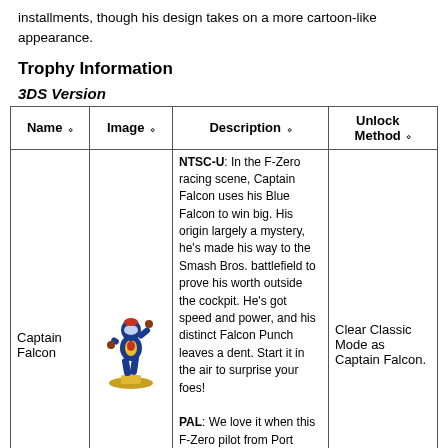installments, though his design takes on a more cartoon-like appearance.
Trophy Information
3DS Version
| Name | Image | Description | Unlock Method |
| --- | --- | --- | --- |
| Captain Falcon | [image] | NTSC-U: In the F-Zero racing scene, Captain Falcon uses his Blue Falcon to win big. His origin largely a mystery, he's made his way to the Smash Bros. battlefield to prove his worth outside the cockpit. He's got speed and power, and his distinct Falcon Punch leaves a dent. Start it in the air to surprise your foes!

PAL: We love it when this F-Zero pilot from Port Town takes a break from racing the Blue Falcon to take on challengers in brawls. His balance of speed, power and agility keeps him in this... | Clear Classic Mode as Captain Falcon. |